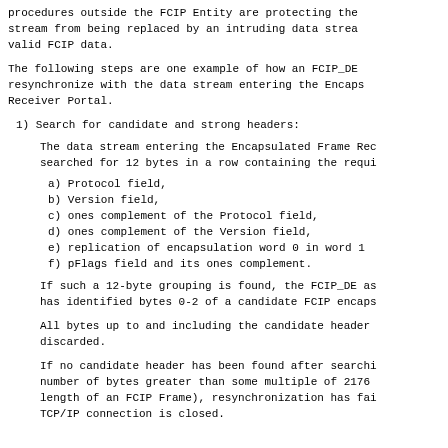procedures outside the FCIP Entity are protecting the stream from being replaced by an intruding data stream of valid FCIP data.
The following steps are one example of how an FCIP_DE resynchronize with the data stream entering the Encaps Receiver Portal.
1) Search for candidate and strong headers:
The data stream entering the Encapsulated Frame Rec searched for 12 bytes in a row containing the requi
a) Protocol field,
b) Version field,
c) ones complement of the Protocol field,
d) ones complement of the Version field,
e) replication of encapsulation word 0 in word 1
f) pFlags field and its ones complement.
If such a 12-byte grouping is found, the FCIP_DE as has identified bytes 0-2 of a candidate FCIP encaps
All bytes up to and including the candidate header discarded.
If no candidate header has been found after searchi number of bytes greater than some multiple of 2176 length of an FCIP Frame), resynchronization has fai TCP/IP connection is closed.